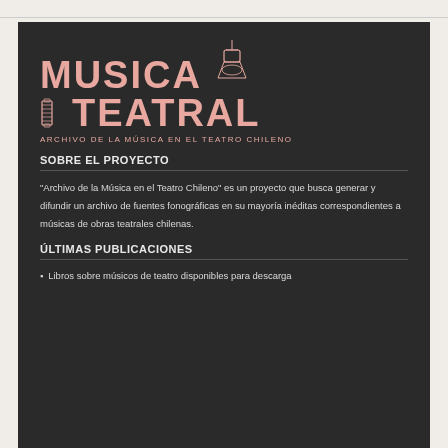[Figure (logo): Musica Teatral logo — pink bold text 'MUSICA TEATRAL' with accordion and stage light illustration, subtitle 'ARCHIVO DE LA MÚSICA EN EL TEATRO CHILENO' on dark background]
SOBRE EL PROYECTO
"Archivo de la Música en el Teatro Chileno" es un proyecto que busca generar y difundir un archivo de fuentes fonográficas en su mayoría inéditas correspondientes a músicas de obras teatrales chilenas.
ÚLTIMAS PUBLICACIONES
Libros sobre músicos de teatro disponibles para descarga